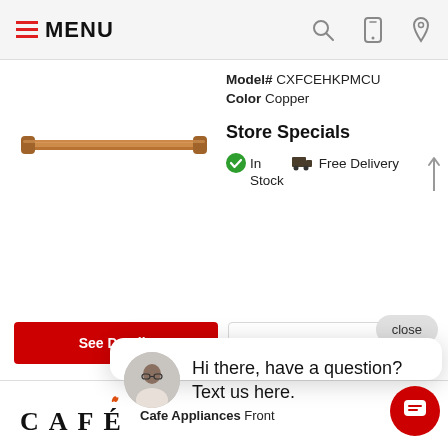MENU
Model# CXFCEHKPMCU
Color Copper
Store Specials
In Stock   Free Delivery
[Figure (photo): Copper colored handle bar product image]
See Details
Add to Cart
close
Hi there, have a question? Text us here.
[Figure (photo): CAFE appliances logo and text: Cafe Appliances Front]
Cafe Appliances Front